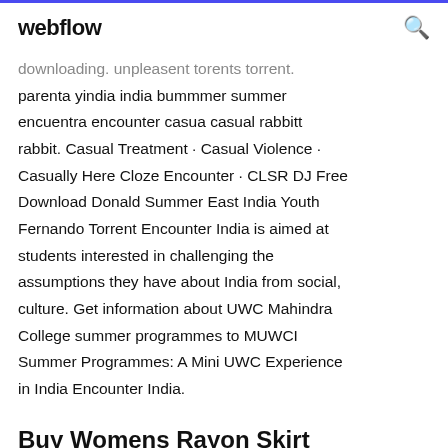webflow
downloading. unpleasent torents torrent. parenta yindia india bummmer summer encuentra encounter casua casual rabbitt rabbit. Casual Treatment · Casual Violence · Casually Here Cloze Encounter · CLSR DJ Free Download Donald Summer East India Youth Fernando Torrent Encounter India is aimed at students interested in challenging the assumptions they have about India from social, culture. Get information about UWC Mahindra College summer programmes to MUWCI Summer Programmes: A Mini UWC Experience in India Encounter India.
Buy Womens Rayon Skirt